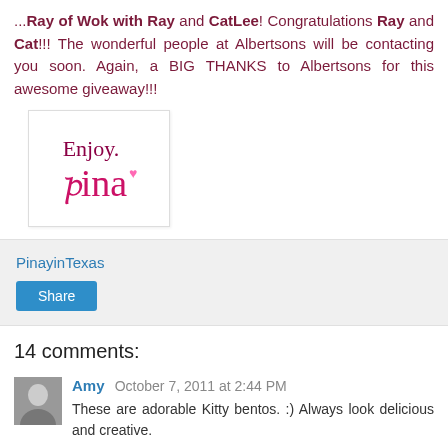...Ray of Wok with Ray and CatLee! Congratulations Ray and Cat!!! The wonderful people at Albertsons will be contacting you soon. Again, a BIG THANKS to Albertsons for this awesome giveaway!!!
[Figure (illustration): Handwritten signature image showing 'Enjoy. Tina' with a small heart, in pink/magenta cursive on white background with a light border.]
PinayinTexas
Share
14 comments:
Amy  October 7, 2011 at 2:44 PM
These are adorable Kitty bentos. :) Always look delicious and creative.
Reply